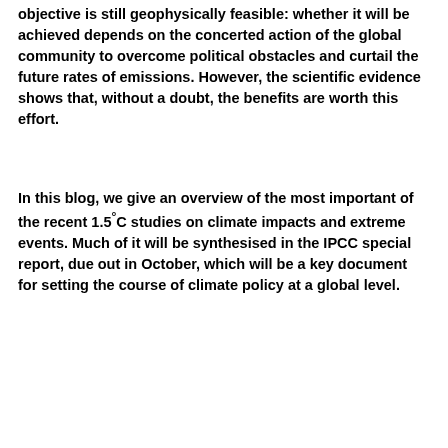objective is still geophysically feasible: whether it will be achieved depends on the concerted action of the global community to overcome political obstacles and curtail the future rates of emissions. However, the scientific evidence shows that, without a doubt, the benefits are worth this effort.
In this blog, we give an overview of the most important of the recent 1.5°C studies on climate impacts and extreme events. Much of it will be synthesised in the IPCC special report, due out in October, which will be a key document for setting the course of climate policy at a global level.